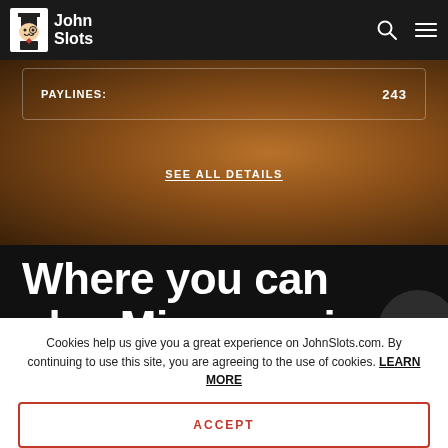John Slots
| PAYLINES: | 243 |
| --- | --- |
SEE ALL DETAILS
Where you can play Microgaming Slots
Cookies help us give you a great experience on JohnSlots.com. By continuing to use this site, you are agreeing to the use of cookies. LEARN MORE
ACCEPT